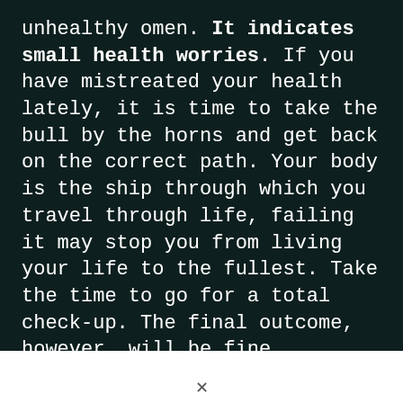unhealthy omen. It indicates small health worries. If you have mistreated your health lately, it is time to take the bull by the horns and get back on the correct path. Your body is the ship through which you travel through life, failing it may stop you from living your life to the fullest. Take the time to go for a total check-up. The final outcome, however, will be fine. Dreaming about wardrobe indicates that you will recover extremely quickly.